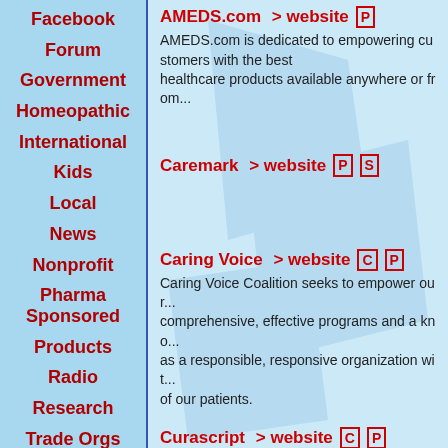Facebook
Forum
Government
Homeopathic
International
Kids
Local
News
Nonprofit
Pharma Sponsored
Products
Radio
Research
Trade Orgs
AMEDS.com   > website   [P]
AMEDS.com is dedicated to empowering customers with the best healthcare products available anywhere or from...
Caremark   > website   [P][S]
Caring Voice   > website   [C][P]
Caring Voice Coalition seeks to empower our... comprehensive, effective programs and a kn... as a responsible, responsive organization wit... of our patients.
Curascript   > website   [C][P]
At CuraScript, we are dedicated to the delive... Providing affordable, high quality care for com... among many healthcare experts. CuraScript... health plan sponsors, and pharmaceutical ma...